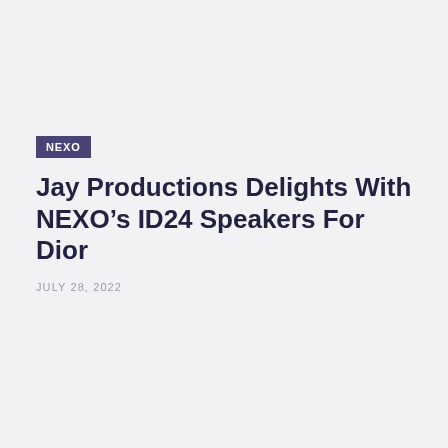NEXO
Jay Productions Delights With NEXO’s ID24 Speakers For Dior
JULY 28, 2022